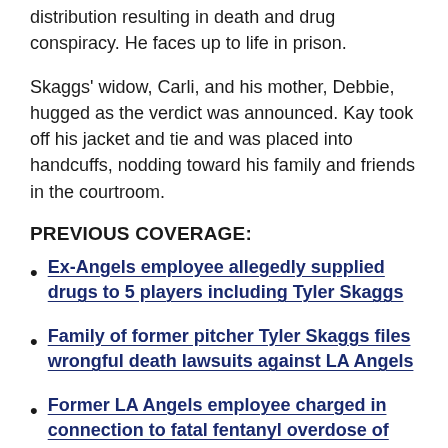distribution resulting in death and drug conspiracy. He faces up to life in prison.
Skaggs' widow, Carli, and his mother, Debbie, hugged as the verdict was announced. Kay took off his jacket and tie and was placed into handcuffs, nodding toward his family and friends in the courtroom.
PREVIOUS COVERAGE:
Ex-Angels employee allegedly supplied drugs to 5 players including Tyler Skaggs
Family of former pitcher Tyler Skaggs files wrongful death lawsuits against LA Angels
Former LA Angels employee charged in connection to fatal fentanyl overdose of Tyler